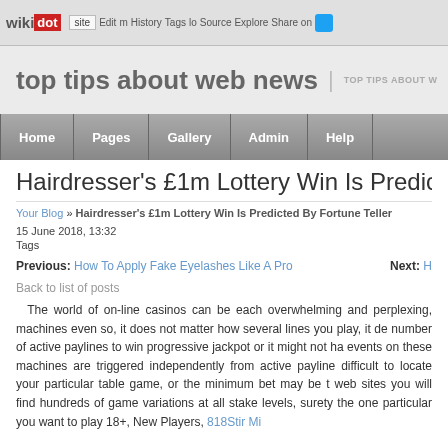wikidot | site | Edit | History | Tags | Source | Explore | Share on Twitter
top tips about web news | TOP TIPS ABOUT W
Home | Pages | Gallery | Admin | Help
Hairdresser's £1m Lottery Win Is Predicted by Fortune Teller
Your Blog » Hairdresser's £1m Lottery Win Is Predicted By Fortune Teller
15 June 2018, 13:32
Tags
Previous: How To Apply Fake Eyelashes Like A Pro   Next: H
Back to list of posts
The world of on-line casinos can be each overwhelming and perplexing, machines even so, it does not matter how several lines you play, it de number of active paylines to win progressive jackpot or it might not ha events on these machines are triggered independently from active payline difficult to locate your particular table game, or the minimum bet may be t web sites you will find hundreds of game variations at all stake levels, surety the one particular you want to play 18+, New Players, 818Stir Mi